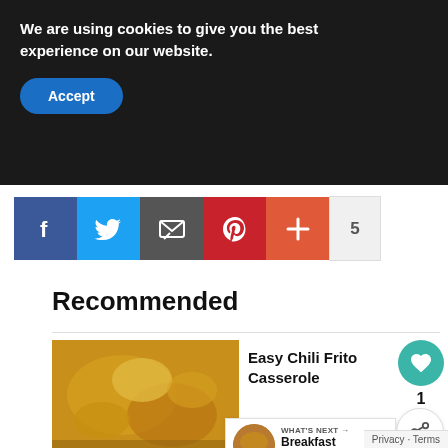We are using cookies to give you the best experience on our website.
Accept
[Figure (other): Social sharing icons row: Facebook (blue), Twitter (light blue), Email/share (grey), Pinterest (red), Plus/more (orange-red), count badge showing 5]
Recommended
[Figure (photo): Photo of Easy Chili Frito Casserole — yellow cheesy dish in a baking pan]
Easy Chili Frito Casserole
Read More →
[Figure (photo): Small circular thumbnail of Breakfast Casserole with label WHAT'S NEXT →]
WHAT'S NEXT → Breakfast Casserole
[Figure (photo): Photo of Easy Sloppy Joe Casserole — partially visible at bottom]
Easy Sloppy Joe Casserole
Privacy · Terms